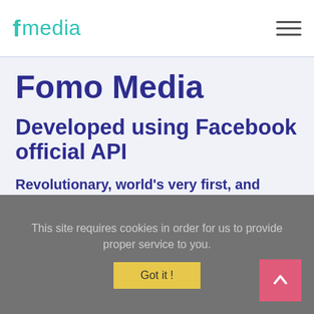f media
Fomo Media
Developed using Facebook official API
Revolutionary, world's very first, and complete marketing software for Facebook & other social medias developed using official APIs.
This site requires cookies in order for us to provide proper service to you.